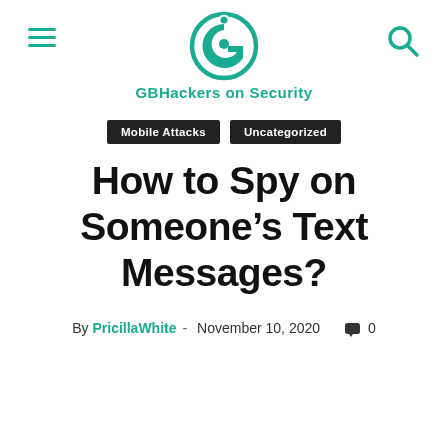GBHackers on Security
Mobile Attacks
Uncategorized
How to Spy on Someone’s Text Messages?
By PricillaWhite – November 10, 2020  0